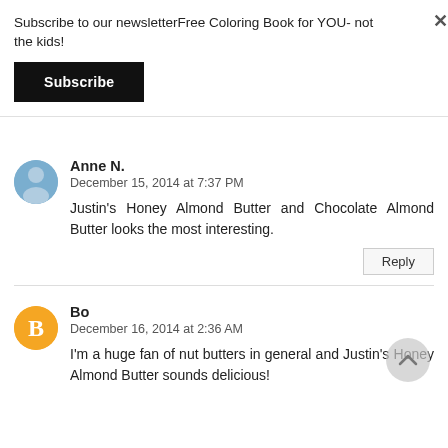Subscribe to our newsletterFree Coloring Book for YOU- not the kids!
Subscribe
Anne N.
December 15, 2014 at 7:37 PM
Justin's Honey Almond Butter and Chocolate Almond Butter looks the most interesting.
Reply
Bo
December 16, 2014 at 2:36 AM
I'm a huge fan of nut butters in general and Justin's Honey Almond Butter sounds delicious!